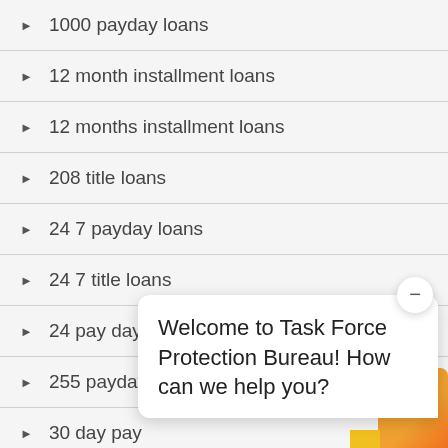1000 payday loans
12 month installment loans
12 months installment loans
208 title loans
24 7 payday loans
24 7 title loans
24 pay day loan
255 payday loans
30 day pay...
30 day payday loan
Welcome to Task Force Protection Bureau! How can we help you?